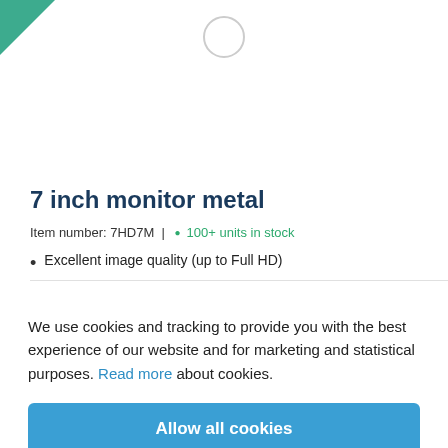[Figure (logo): Green triangle logo in top-left corner and a circular icon in the top center]
7 inch monitor metal
Item number: 7HD7M  |  • 100+ units in stock
Excellent image quality (up to Full HD)
We use cookies and tracking to provide you with the best experience of our website and for marketing and statistical purposes. Read more about cookies.
Allow all cookies
Settings